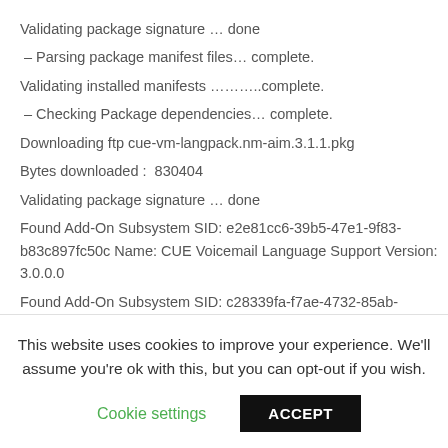Validating package signature … done
– Parsing package manifest files… complete.
Validating installed manifests ………..complete.
– Checking Package dependencies… complete.
Downloading ftp cue-vm-langpack.nm-aim.3.1.1.pkg
Bytes downloaded :  830404
Validating package signature … done
Found Add-On Subsystem SID: e2e81cc6-39b5-47e1-9f83-b83c897fc50c Name: CUE Voicemail Language Support Version: 3.0.0.0
Found Add-On Subsystem SID: c28339fa-f7ae-4732-85ab-fa6c68b5de0c Name: CUE Voicemail Italian Version: 3.0.0.0
Found Add-On Subsystem SID: 49f09114-e0b0-4721-8b85-
This website uses cookies to improve your experience. We'll assume you're ok with this, but you can opt-out if you wish.
Cookie settings | ACCEPT